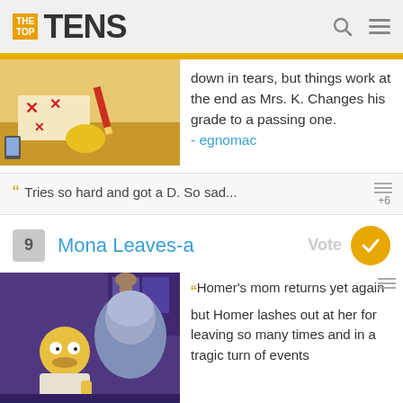THE TOP TENS
down in tears, but things work at the end as Mrs. K. Changes his grade to a passing one. - egnomac
Tries so hard and got a D. So sad... +6
9 Mona Leaves-a Vote
[Figure (photo): Screenshot from The Simpsons episode Mona Leaves-a showing Homer with his mom]
Homer's mom returns yet again but Homer lashes out at her for leaving so many times and in a tragic turn of events